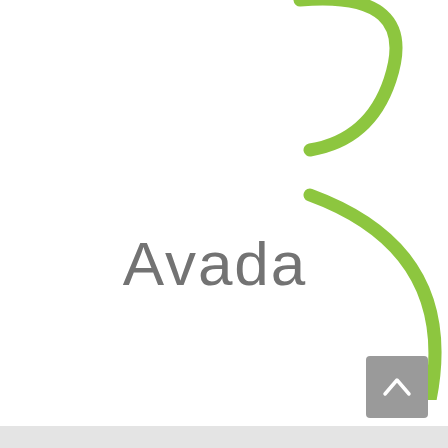[Figure (logo): Avada logo consisting of a stylized green curly brace or parenthesis shape made of two curved green strokes, with the word 'Avada' in gray sans-serif text in the center]
[Figure (other): Gray scroll-to-top button with upward chevron arrow in the bottom-right corner]